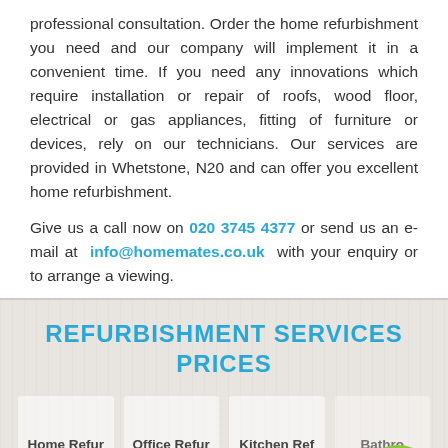professional consultation. Order the home refurbishment you need and our company will implement it in a convenient time. If you need any innovations which require installation or repair of roofs, wood floor, electrical or gas appliances, fitting of furniture or devices, rely on our technicians. Our services are provided in Whetstone, N20 and can offer you excellent home refurbishment.
Give us a call now on 020 3745 4377 or send us an e-mail at info@homemates.co.uk with your enquiry or to arrange a viewing.
REFURBISHMENT SERVICES PRICES
Home Refur  Office Refur  Kitchen Ref  Bathro...